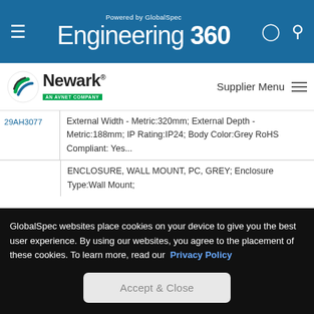Powered by GlobalSpec Engineering 360
[Figure (logo): Newark - An Avnet Company logo with green swirl icon]
Supplier Menu
29AH3077 ... External Width - Metric:320mm; External Depth - Metric:188mm; IP Rating:IP24; Body Color:Grey RoHS Compliant: Yes...
ENCLOSURE, WALL MOUNT, PC, GREY; Enclosure Type:Wall Mount;
GlobalSpec websites place cookies on your device to give you the best user experience. By using our websites, you agree to the placement of these cookies. To learn more, read our Privacy Policy
Accept & Close